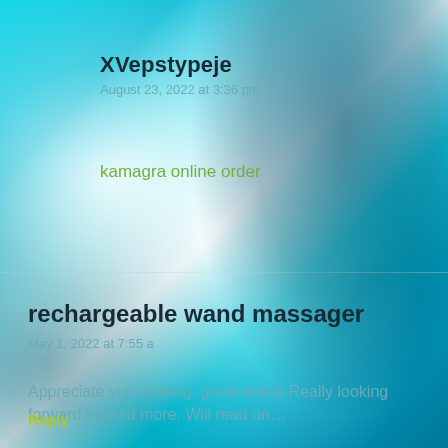XVepstypeje
August 23, 2022 at 3:36 pm
kamagra online order
rechargeable wand massager
May 1, 2022 at 7:55 a
Appreciate you sharing, great article.Really looking forward to read more. Will read on…
Reply